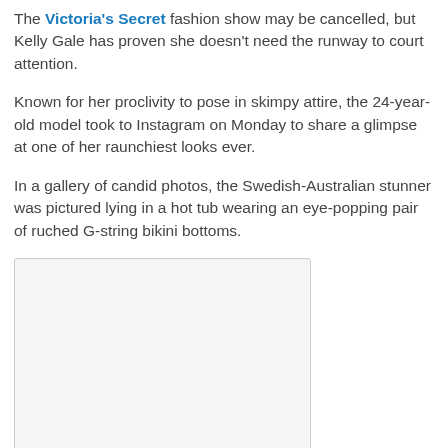The Victoria's Secret fashion show may be cancelled, but Kelly Gale has proven she doesn't need the runway to court attention.
Known for her proclivity to pose in skimpy attire, the 24-year-old model took to Instagram on Monday to share a glimpse at one of her raunchiest looks ever.
In a gallery of candid photos, the Swedish-Australian stunner was pictured lying in a hot tub wearing an eye-popping pair of ruched G-string bikini bottoms.
[Figure (photo): Photo placeholder with light gray background and border, partially visible]